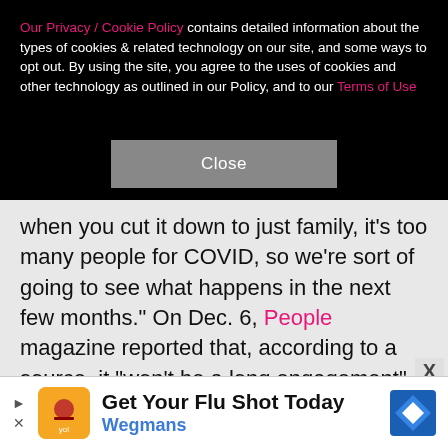Our Privacy / Cookie Policy contains detailed information about the types of cookies & related technology on our site, and some ways to opt out. By using the site, you agree to the uses of cookies and other technology as outlined in our Policy, and to our Terms of Use
Close
when you cut it down to just family, it's too many people for COVID, so we're sort of going to see what happens in the next few months." On Dec. 6, People magazine reported that, according to a source, it "won't be a long engagement" for Gwen and Blake. "There is a reason why Blake proposed now. They are both ready to get married," said the source, noting that the couple "don't want a huge wedding." Added the insider, "They want their family and close friends to attend and that's it."
[Figure (infographic): Advertisement banner for Wegmans Flu Shot. Contains Wegmans logo icon in orange square, play and X controls, headline 'Get Your Flu Shot Today', 'Wegmans' in blue text, and a blue diamond navigation icon on the right.]